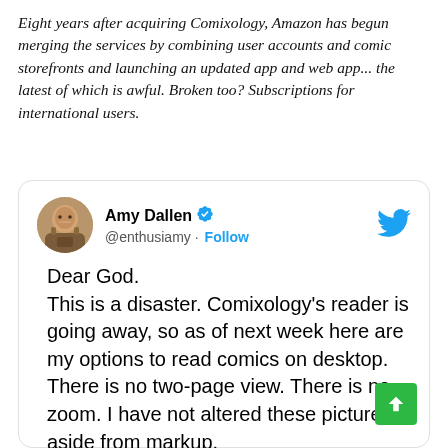Eight years after acquiring Comixology, Amazon has begun merging the services by combining user accounts and comic storefronts and launching an updated app and web app... the latest of which is awful. Broken too? Subscriptions for international users.
[Figure (screenshot): Tweet card from Amy Dallen (@enthusiamy) with verified badge and Follow button. Tweet text: 'Dear God. This is a disaster. Comixology's reader is going away, so as of next week here are my options to read comics on desktop. There is no two-page view. There is no zoom. I have not altered these pictures aside from markup.' followed by 'Witness the work of the great J. H.' (truncated). Twitter bird logo in top right corner.]